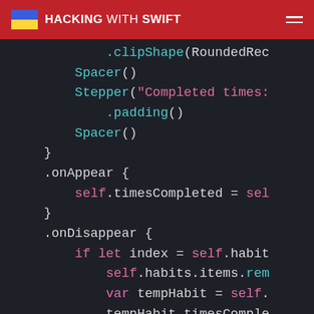HACKING WITH SWIFT
[Figure (screenshot): Swift code editor screenshot showing SwiftUI code with .clipShape, Spacer(), Stepper, .padding(), .onAppear, .onDisappear blocks with syntax highlighting]